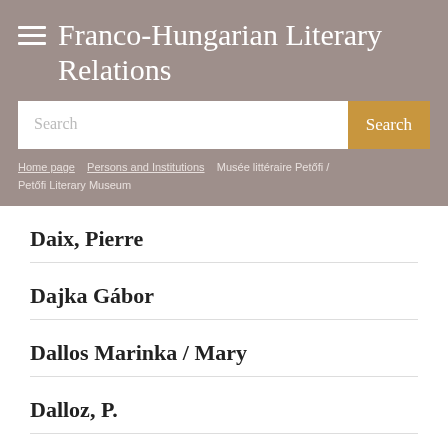Franco-Hungarian Literary Relations
Home page / Persons and Institutions / Musée littéraire Petőfi / Petőfi Literary Museum
Daix, Pierre
Dajka Gábor
Dallos Marinka / Mary
Dalloz, P.